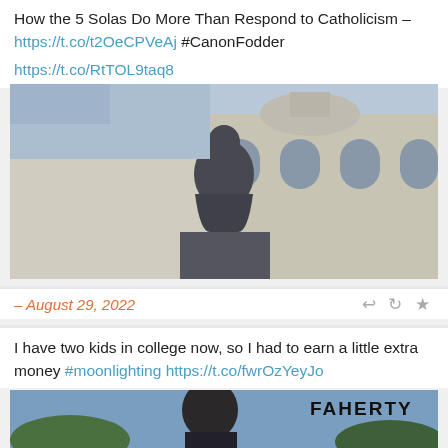How the 5 Solas Do More Than Respond to Catholicism – https://t.co/t2OeCPVeAj #CanonFodder
https://t.co/RtTOL9taq8
[Figure (photo): Statue of Martin Luther in front of a baroque European church building, viewed from below against a sky background.]
– August 29, 2022
I have two kids in college now, so I had to earn a little extra money #moonlighting https://t.co/fwrOzYeyJo
[Figure (photo): Man with dark hair looking down, outdoors with trees and sky. FAHERTY brand text in upper right corner.]